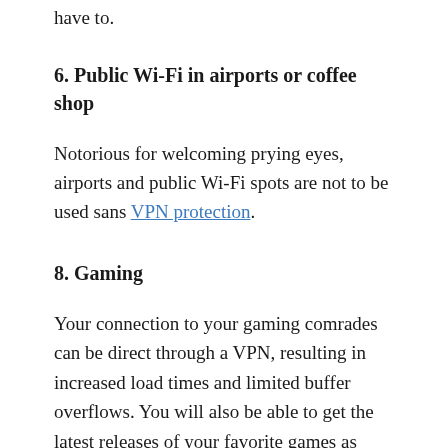have to.
6. Public Wi-Fi in airports or coffee shop
Notorious for welcoming prying eyes, airports and public Wi-Fi spots are not to be used sans VPN protection.
8. Gaming
Your connection to your gaming comrades can be direct through a VPN, resulting in increased load times and limited buffer overflows. You will also be able to get the latest releases of your favorite games as they happen and not wait for them to hit your location upon